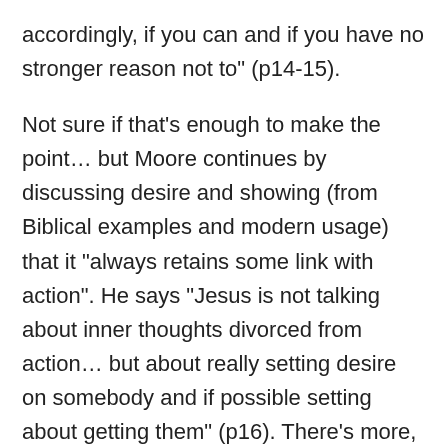accordingly, if you can and if you have no stronger reason not to" (p14-15).
Not sure if that's enough to make the point… but Moore continues by discussing desire and showing (from Biblical examples and modern usage) that it "always retains some link with action". He says "Jesus is not talking about inner thoughts divorced from action… but about really setting desire on somebody and if possible setting about getting them" (p16). There's more, but will just add that Moore ends his first section by emphasising that "None of this is to say that our fantasies or the thoughts that run through our heads are unimportant… their importance does not lie in their being inner rather than outer, mental